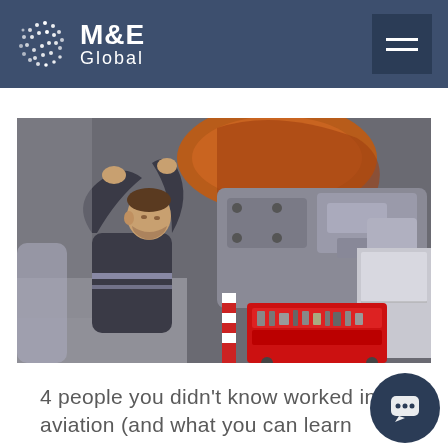M&E Global
[Figure (photo): An aircraft mechanic in a dark jumpsuit working on an aircraft engine/component overhead in a hangar, with a red tool chest on the floor below.]
4 people you didn't know worked in aviation (and what you can learn